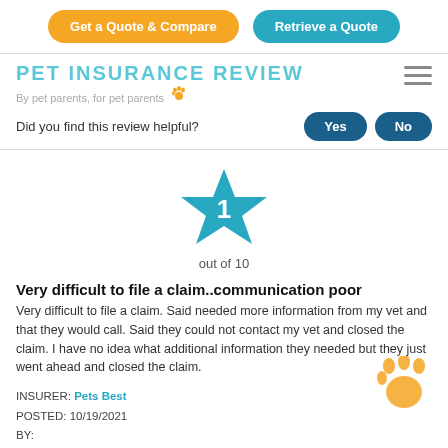[Figure (other): Two buttons: 'Get a Quote & Compare' (orange, rounded) and 'Retrieve a Quote' (teal, rounded)]
PET INSURANCE REVIEW
By pet parents, for pet parents 🐾
Did you find this review helpful?
[Figure (other): Star rating graphic: blue star with number 1 inside, labeled 'out of 10']
Very difficult to file a claim..communication poor
Very difficult to file a claim. Said needed more information from my vet and that they would call. Said they could not contact my vet and closed the claim. I have no idea what additional information they needed but they just went ahead and closed the claim.
INSURER: Pets Best
POSTED: 10/19/2021
BY: